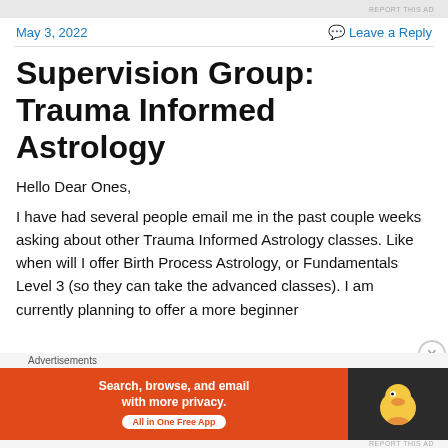REPORT THIS AD
May 3, 2022
Leave a Reply
Supervision Group: Trauma Informed Astrology
Hello Dear Ones,
I have had several people email me in the past couple weeks asking about other Trauma Informed Astrology classes. Like when will I offer Birth Process Astrology, or Fundamentals Level 3 (so they can take the advanced classes). I am currently planning to offer a more beginner
[Figure (other): DuckDuckGo advertisement banner with orange left panel reading 'Search, browse, and email with more privacy. All in One Free App' and dark right panel showing DuckDuckGo duck logo]
REPORT THIS AD